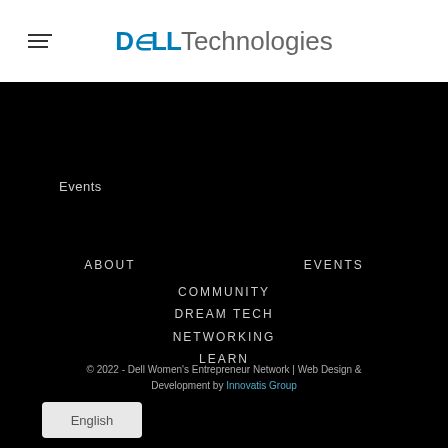DELL Technologies
Events
ABOUT
EVENTS
COMMUNITY
DREAM TECH
NETWORKING
LEARN
© 2022 - Dell Women's Entrepreneur Network | Web Design & Development by Innovatis Group
English